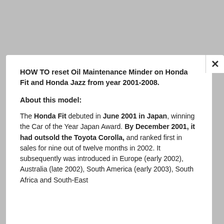HOW TO reset Oil Maintenance Minder on Honda Fit and Honda Jazz from year 2001-2008.
About this model:
The Honda Fit debuted in June 2001 in Japan, winning the Car of the Year Japan Award. By December 2001, it had outsold the Toyota Corolla, and ranked first in sales for nine out of twelve months in 2002. It subsequently was introduced in Europe (early 2002), Australia (late 2002), South America (early 2003), South Africa and South-East